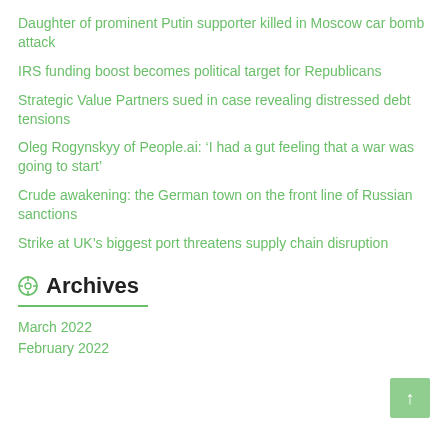Daughter of prominent Putin supporter killed in Moscow car bomb attack
IRS funding boost becomes political target for Republicans
Strategic Value Partners sued in case revealing distressed debt tensions
Oleg Rogynskyy of People.ai: ‘I had a gut feeling that a war was going to start’
Crude awakening: the German town on the front line of Russian sanctions
Strike at UK’s biggest port threatens supply chain disruption
Archives
March 2022
February 2022